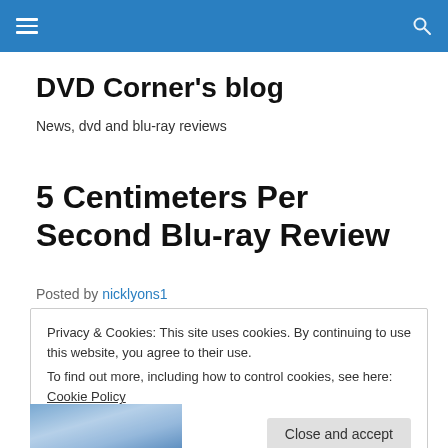DVD Corner's blog — navigation header bar
DVD Corner's blog
News, dvd and blu-ray reviews
5 Centimeters Per Second Blu-ray Review
Posted by nicklyons1
Privacy & Cookies: This site uses cookies. By continuing to use this website, you agree to their use.
To find out more, including how to control cookies, see here: Cookie Policy
[Figure (photo): Thumbnail of anime scene from 5 Centimeters Per Second]